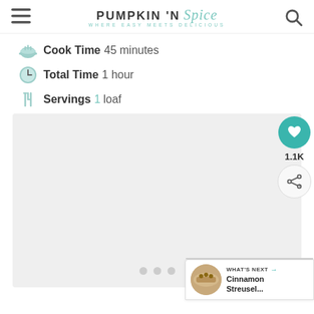PUMPKIN 'N Spice — WHERE EASY MEETS DELICIOUS
Cook Time 45 minutes
Total Time 1 hour
Servings 1 loaf
[Figure (photo): Large gray placeholder image area with three small gray dots at the bottom center (image carousel indicators)]
1.1K
WHAT'S NEXT → Cinnamon Streusel...